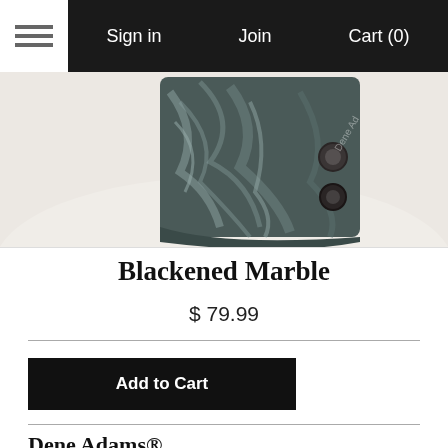Sign in  Join  Cart (0)
[Figure (photo): Product photo of a blackened marble patterned IWB holster placed on a white round surface. The holster has dark grey marble swirl pattern with metal hardware clips.]
Blackened Marble
$ 79.99
Add to Cart
Dene Adams®
IWB Inside The Waistband Holsters that can be worn alone or with and Dene Adams Corset, Tank or Concealment Leggings.